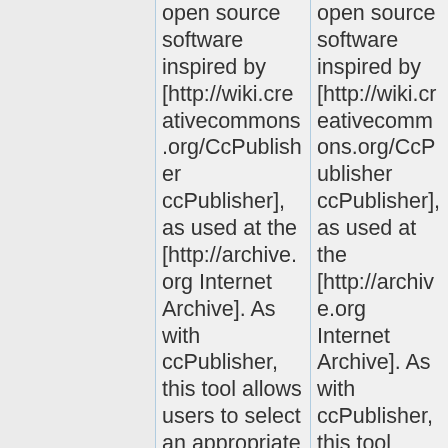open source software inspired by [http://wiki.creativecommons.org/CcPublisher ccPublisher], as used at the [http://archive.org Internet Archive]. As with ccPublisher, this tool allows users to select an appropriate Creative Commons licence and to tag audio and video files with metadata through an administrative
open source software inspired by [http://wiki.creativecommons.org/CcPublisher ccPublisher], as used at the [http://archive.org Internet Archive]. As with ccPublisher, this tool allows users to select an appropriate Creative Commons licence and to tag audio and video files with metadata through an administrative